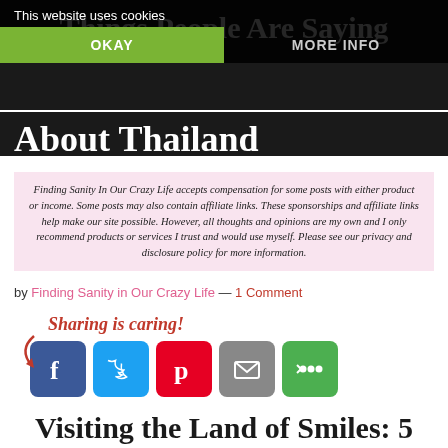Things People Are Saying
About Thailand
This website uses cookies
OKAY | MORE INFO
Finding Sanity In Our Crazy Life accepts compensation for some posts with either product or income. Some posts may also contain affiliate links. These sponsorships and affiliate links help make our site possible. However, all thoughts and opinions are my own and I only recommend products or services I trust and would use myself. Please see our privacy and disclosure policy for more information.
by Finding Sanity in Our Crazy Life — 1 Comment
Sharing is caring!
[Figure (other): Social sharing icons: Facebook, Twitter, Pinterest, Email, More]
Visiting the Land of Smiles: 5 Things People Are Saying About Thailand